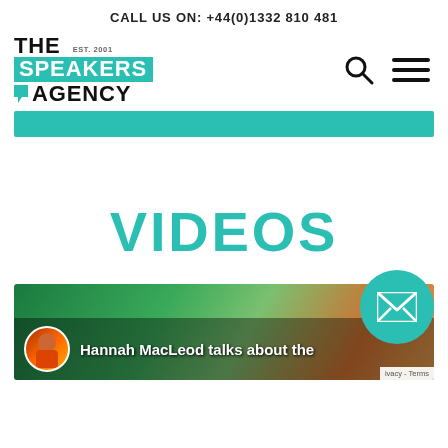CALL US ON: +44(0)1332 810 481
[Figure (logo): The Speakers Agency logo with teal background on SPEAKERS text, EST. 2001 text, and speech bubble graphic]
[Figure (infographic): Search icon (magnifying glass) and hamburger menu icon]
[Figure (infographic): Teal horizontal bar/banner]
VIDEOS
[Figure (screenshot): Video thumbnail showing Hannah MacLeod talks about the... with circular avatar of person in red jacket, colorful background]
[Figure (infographic): Teal circular email/contact button with envelope icon]
ivacy - Terms